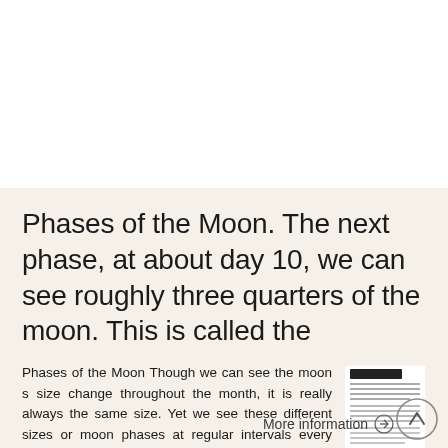Phases of the Moon. The next phase, at about day 10, we can see roughly three quarters of the moon. This is called the
Phases of the Moon Though we can see the moon s size change throughout the month, it is really always the same size. Yet we see these different sizes or moon phases at regular intervals every month. How
[Figure (screenshot): Small thumbnail image of a document page about Phases of the Moon with a dark header bar and text content]
More information →